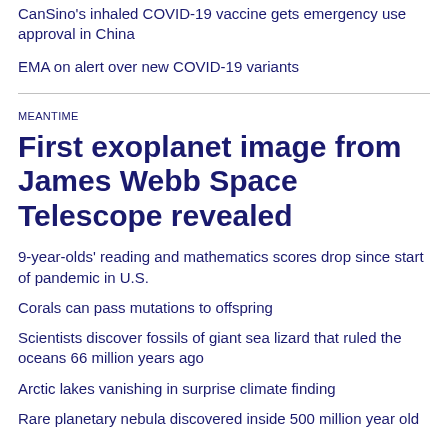CanSino's inhaled COVID-19 vaccine gets emergency use approval in China
EMA on alert over new COVID-19 variants
MEANTIME
First exoplanet image from James Webb Space Telescope revealed
9-year-olds' reading and mathematics scores drop since start of pandemic in U.S.
Corals can pass mutations to offspring
Scientists discover fossils of giant sea lizard that ruled the oceans 66 million years ago
Arctic lakes vanishing in surprise climate finding
Rare planetary nebula discovered inside 500 million year old